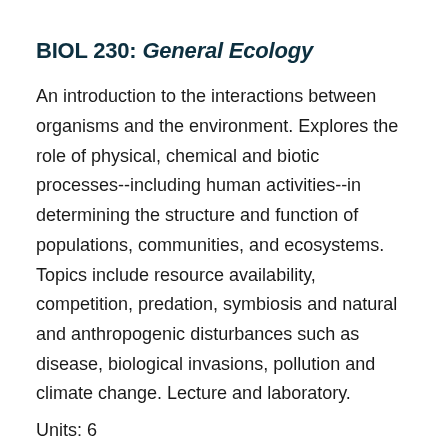BIOL 230: General Ecology
An introduction to the interactions between organisms and the environment. Explores the role of physical, chemical and biotic processes--including human activities--in determining the structure and function of populations, communities, and ecosystems. Topics include resource availability, competition, predation, symbiosis and natural and anthropogenic disturbances such as disease, biological invasions, pollution and climate change. Lecture and laboratory.
Units: 6
Also listed as Environmental Studies 220